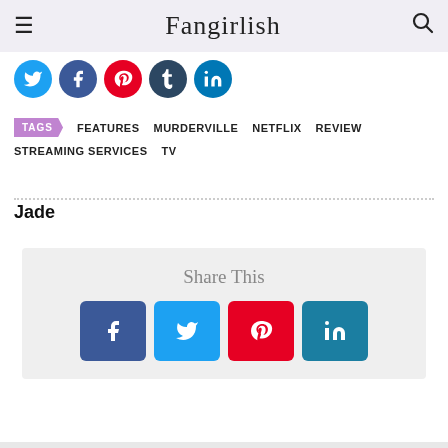Fangirlish
[Figure (infographic): Row of social media circle icon buttons: Twitter (blue), Facebook (dark blue), Pinterest (red), Tumblr (dark teal), LinkedIn (blue)]
TAGS  FEATURES  MURDERVILLE  NETFLIX  REVIEW  STREAMING SERVICES  TV
Jade
[Figure (infographic): Share This box with four share buttons: Facebook (dark blue with f), Twitter (light blue with bird), Pinterest (red with p), LinkedIn (teal with in)]
[Figure (infographic): infolinks advertisement banner: Ice things up & give it a try sweetFrog with close button and arrow icon]